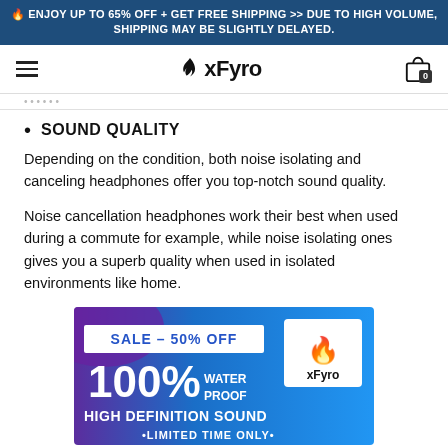🔥 ENJOY UP TO 65% OFF + GET FREE SHIPPING >> DUE TO HIGH VOLUME, SHIPPING MAY BE SLIGHTLY DELAYED.
[Figure (logo): xFyro logo with flame icon, hamburger menu on left, shopping bag icon with 0 count on right]
SOUND QUALITY
Depending on the condition, both noise isolating and canceling headphones offer you top-notch sound quality.
Noise cancellation headphones work their best when used during a commute for example, while noise isolating ones gives you a superb quality when used in isolated environments like home.
[Figure (infographic): xFyro advertisement banner: SALE - 50% OFF, 100% WATER PROOF, HIGH DEFINITION SOUND, LIMITED TIME ONLY, with xFyro flame logo on right side, blue/purple gradient background]